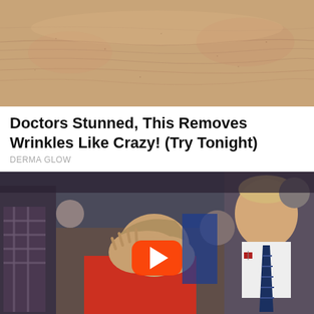[Figure (photo): Close-up photo of wrinkled skin (face/forehead area), used as advertisement thumbnail for anti-wrinkle product]
Doctors Stunned, This Removes Wrinkles Like Crazy! (Try Tonight)
DERMA GLOW
[Figure (photo): Video thumbnail showing two political figures, one covering face with hands and another looking on, with a YouTube-style red play button overlay]
No One Was Supposed To See This, But Trump Was Caught On Camera
PROZORO